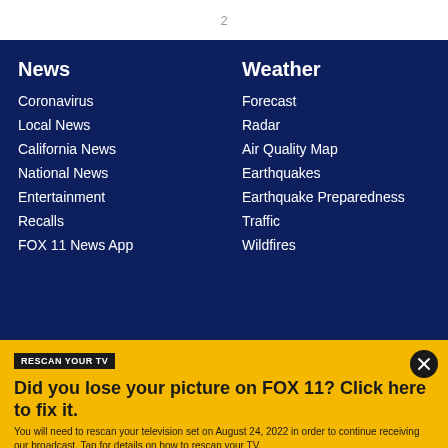News
Coronavirus
Local News
California News
National News
Entertainment
Recalls
FOX 11 News App
Weather
Forecast
Radar
Air Quality Map
Earthquakes
Earthquake Preparedness
Traffic
Wildfires
RESCAN YOUR TV
Did you lose your picture on FOX 11? Click here to fix it.
You will need to rescan your television set on August 24, 2022 in order to continue receiving our broadcast. Tap for details on how to rescan your TV.